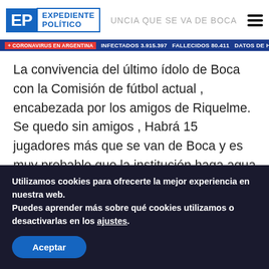EXPEDIENTE POLÍTICO | UNCIA QUE SE VA DE BOCA
[Figure (screenshot): Coronavirus news ticker bar: + CORONAVIRUS EN ARGENTINA INFECTADOS 3.915.397 FALLECIDOS 80.411 DATOS DE HOY INFECTADOS 20.950 FALLECIDOS 539]
La convivencia del último ídolo de Boca con la Comisión de fútbol actual , encabezada por los amigos de Riquelme. Se quedo sin amigos , Habrá 15 jugadores más que se van de Boca y es muy probable que la institución haga agua en el cierre de su participación de la Libertadores.
Tévez erró un penal clave en la semifinal frente a
Utilizamos cookies para ofrecerte la mejor experiencia en nuestra web.
Puedes aprender más sobre qué cookies utilizamos o desactivarlas en los ajustes.
Aceptar